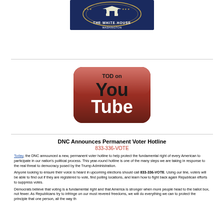[Figure (logo): White House logo with text 'THE WHITE HOUSE WASHINGTON' on a dark blue background]
[Figure (logo): YouTube logo styled button with 'TOD on You Tube' text in red and white on dark red rounded square]
DNC Announces Permanent Voter Hotline
833-336-VOTE
Today, the DNC announced a new, permanent voter hotline to help protect the fundamental right of every American to participate in our nation's political process. This year-round hotline is one of the many steps we are taking in response to the real threat to democracy posed by the Trump Administration.
Anyone looking to ensure their voice is heard in upcoming elections should call 833-336-VOTE. Using our line, voters will be able to find out if they are registered to vote, find polling locations, and learn how to fight back again Republican efforts to suppress votes.
Democrats believe that voting is a fundamental right and that America is stronger when more people head to the ballot box, not fewer. As Republicans try to infringe on our most revered freedoms, we will do everything we can to protect the principle that one person, all the way th...